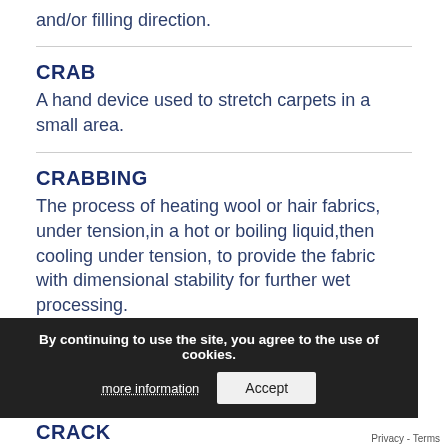and/or filling direction.
CRAB
A hand device used to stretch carpets in a small area.
CRABBING
The process of heating wool or hair fabrics, under tension,in a hot or boiling liquid,then cooling under tension, to provide the fabric with dimensional stability for further wet processing.
By continuing to use the site, you agree to the use of cookies.
more information
Accept
CRACK
Privacy - Terms